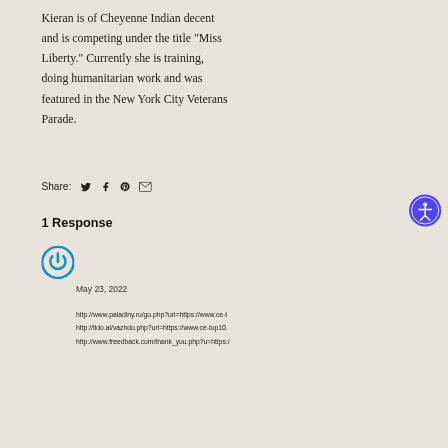Kieran is of Cheyenne Indian decent and is competing under the title "Miss Liberty." Currently she is training, doing humanitarian work and was featured in the New York City Veterans Parade.
Share:
1 Response
May 23, 2022
http://www.paladiny.ru/go.php?url=https://www.ce-t
http://tido.al/vazhdo.php?url=https://www.ce-top10.
http://www.freedback.com/thank_you.php?u=https:/